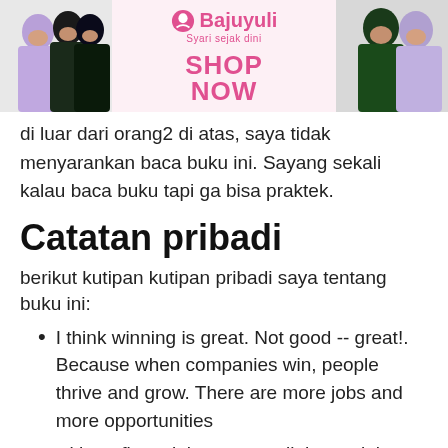[Figure (photo): Banner advertisement for Bajuyuli (Syari sejak dini) showing women in hijab clothing on left and right, with logo and SHOP NOW text in center on pink background]
di luar dari orang2 di atas, saya tidak menyarankan baca buku ini. Sayang sekali kalau baca buku tapi ga bisa praktek.
Catatan pribadi
berikut kutipan kutipan pribadi saya tentang buku ini:
I think winning is great. Not good -- great!. Because when companies win, people thrive and grow. There are more jobs and more opportunities
without financial success, all the social goals in the world don't have a chance.
We treat customers the way we would want to be treated.